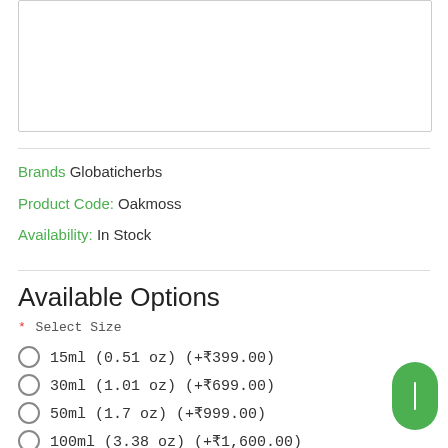[Figure (other): White image/product photo box with border]
Brands Globaticherbs
Product Code: Oakmoss
Availability: In Stock
Available Options
* Select Size
15ml (0.51 oz) (+₹399.00)
30ml (1.01 oz) (+₹699.00)
50ml (1.7 oz) (+₹999.00)
100ml (3.38 oz) (+₹1,600.00)